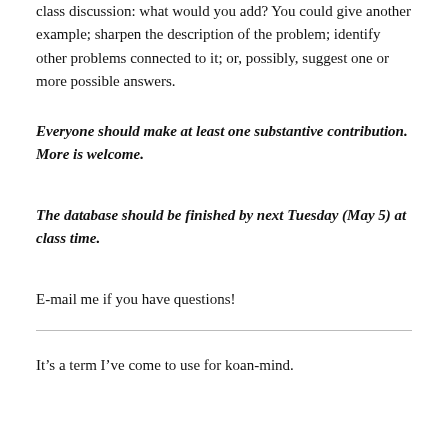class discussion: what would you add? You could give another example; sharpen the description of the problem; identify other problems connected to it; or, possibly, suggest one or more possible answers.
Everyone should make at least one substantive contribution. More is welcome.
The database should be finished by next Tuesday (May 5) at class time.
E-mail me if you have questions!
It’s a term I’ve come to use for koan-mind.